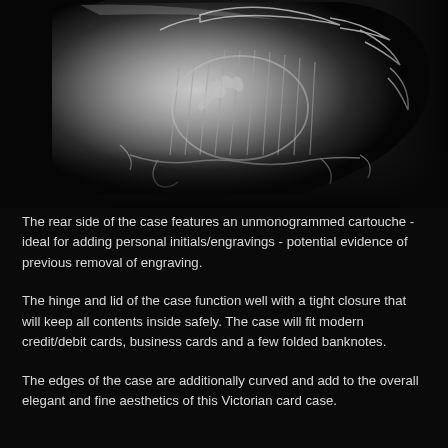[Figure (photo): Close-up black and white photograph of an ornate silver Victorian card case showing intricate engraved floral and scrollwork decorations on its surface, photographed against a black background.]
The rear side of the case features an unmonogrammed cartouche - ideal for adding personal initials/engravings - potential evidence of previous removal of engraving.
The hinge and lid of the case function well with a tight closure that will keep all contents inside safely. The case will fit modern credit/debit cards, business cards and a few folded banknotes.
The edges of the case are additionally curved and add to the overall elegant and fine aesthetics of this Victorian card case.